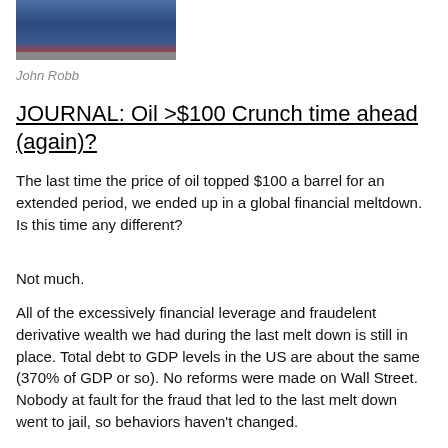[Figure (photo): Partial photo of a person wearing a blue sweater, cropped to show shoulders and bottom of face/neck area]
John Robb
JOURNAL: Oil >$100 Crunch time ahead (again)?
The last time the price of oil topped $100 a barrel for an extended period, we ended up in a global financial meltdown.  Is this time any different?
Not much.
All of the excessively financial leverage and fraudelent derivative wealth we had during the last melt down is still in place.  Total debt to GDP levels in the US are about the same (370% of GDP or so).  No reforms were made on Wall Street.  Nobody at fault for the fraud that led to the last melt down went to jail, so behaviors haven't changed.